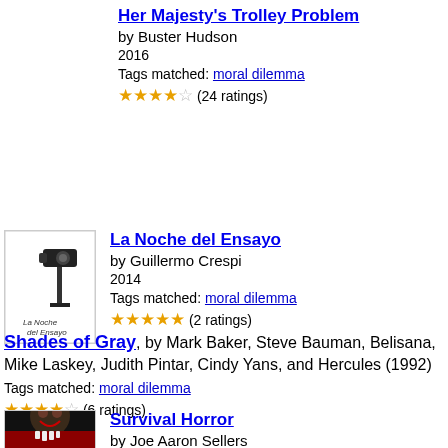Her Majesty's Trolley Problem by Buster Hudson 2016 Tags matched: moral dilemma ★★★★☆ (24 ratings)
[Figure (illustration): Book cover for La Noche del Ensayo with security camera image]
La Noche del Ensayo by Guillermo Crespi 2014 Tags matched: moral dilemma ★★★★★ (2 ratings)
Shades of Gray, by Mark Baker, Steve Bauman, Belisana, Mike Laskey, Judith Pintar, Cindy Yans, and Hercules (1992) Tags matched: moral dilemma ★★★★☆ (6 ratings)
[Figure (illustration): Book cover for Survival Horror with monster/zombie face]
Survival Horror by Joe Aaron Sellers 2015?